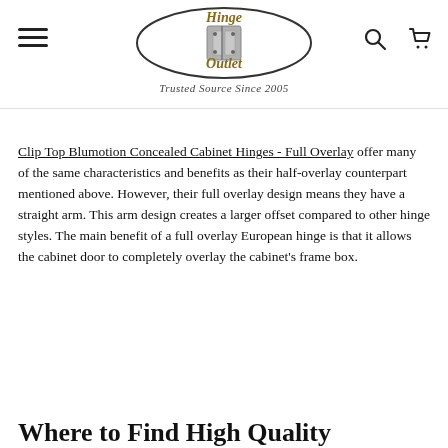Hinge Outlet — Trusted Source Since 2005
Clip Top Blumotion Concealed Cabinet Hinges - Full Overlay offer many of the same characteristics and benefits as their half-overlay counterpart mentioned above. However, their full overlay design means they have a straight arm. This arm design creates a larger offset compared to other hinge styles. The main benefit of a full overlay European hinge is that it allows the cabinet door to completely overlay the cabinet's frame box.
Where to Find High Quality